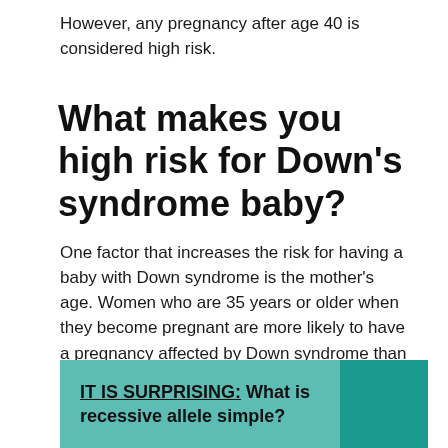However, any pregnancy after age 40 is considered high risk.
What makes you high risk for Down’s syndrome baby?
One factor that increases the risk for having a baby with Down syndrome is the mother’s age. Women who are 35 years or older when they become pregnant are more likely to have a pregnancy affected by Down syndrome than women who become pregnant at a younger age.
IT IS SURPRISING:  What is recessive allele simple?